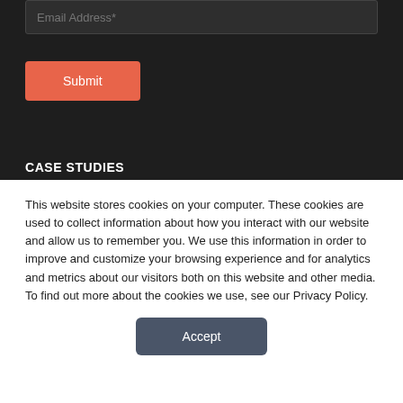Email Address*
Submit
CASE STUDIES
[Figure (photo): Photo of a CUPRA car in a showroom with LED display in background]
PPDS Helps CUPRA Redefine the Car Showroom Experience Using Philips LED and Digital Signage Displays
This website stores cookies on your computer. These cookies are used to collect information about how you interact with our website and allow us to remember you. We use this information in order to improve and customize your browsing experience and for analytics and metrics about our visitors both on this website and other media. To find out more about the cookies we use, see our Privacy Policy.
Accept